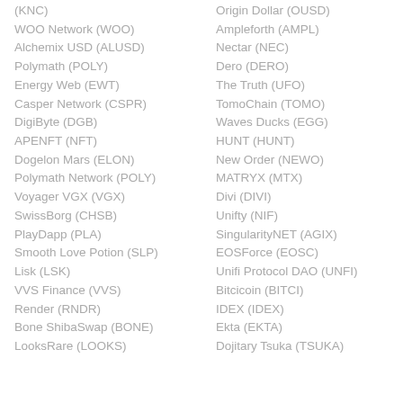(KNC)
WOO Network (WOO)
Alchemix USD (ALUSD)
Polymath (POLY)
Energy Web (EWT)
Casper Network (CSPR)
DigiByte (DGB)
APENFT (NFT)
Dogelon Mars (ELON)
Polymath Network (POLY)
Voyager VGX (VGX)
SwissBorg (CHSB)
PlayDapp (PLA)
Smooth Love Potion (SLP)
Lisk (LSK)
VVS Finance (VVS)
Render (RNDR)
Bone ShibaSwap (BONE)
LooksRare (LOOKS)
Origin Dollar (OUSD)
Ampleforth (AMPL)
Nectar (NEC)
Dero (DERO)
The Truth (UFO)
TomoChain (TOMO)
Waves Ducks (EGG)
HUNT (HUNT)
New Order (NEWO)
MATRYX (MTX)
Divi (DIVI)
Unifty (NIF)
SingularityNET (AGIX)
EOSForce (EOSC)
Unifi Protocol DAO (UNFI)
Bitcicoin (BITCI)
IDEX (IDEX)
Ekta (EKTA)
Dojitary Tsuka (TSUKA)